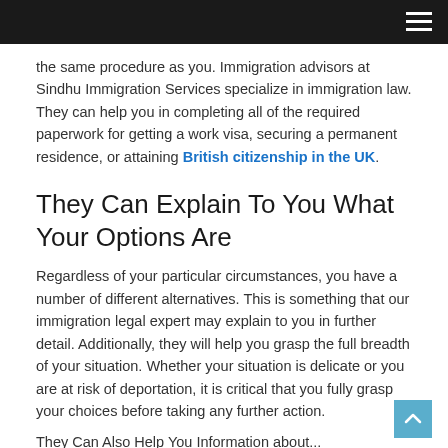the same procedure as you. Immigration advisors at Sindhu Immigration Services specialize in immigration law. They can help you in completing all of the required paperwork for getting a work visa, securing a permanent residence, or attaining British citizenship in the UK.
They Can Explain To You What Your Options Are
Regardless of your particular circumstances, you have a number of different alternatives. This is something that our immigration legal expert may explain to you in further detail. Additionally, they will help you grasp the full breadth of your situation. Whether your situation is delicate or you are at risk of deportation, it is critical that you fully grasp your choices before taking any further action.
They Can Also Help You Information about...